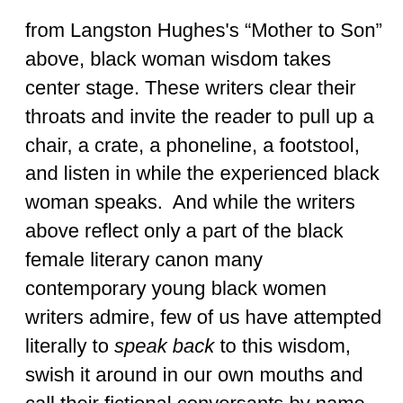from Langston Hughes's “Mother to Son” above, black woman wisdom takes center stage. These writers clear their throats and invite the reader to pull up a chair, a crate, a phoneline, a footstool, and listen in while the experienced black woman speaks.  And while the writers above reflect only a part of the black female literary canon many contemporary young black women writers admire, few of us have attempted literally to speak back to this wisdom, swish it around in our own mouths and call their fictional conversants by name as we pass the dialog on. This is precisely Rachel Eliza Griffiths’ project in Mule & Pear, her third poetry collection, published by New Issues Press